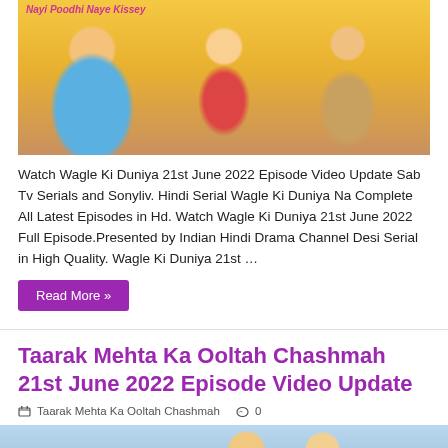[Figure (photo): TV show promotional image with cartoon-style characters, text 'Nayi Poodhi Naye Kissey' at top left in pink]
Watch Wagle Ki Duniya 21st June 2022 Episode Video Update Sab Tv Serials and Sonyliv. Hindi Serial Wagle Ki Duniya Na Complete All Latest Episodes in Hd. Watch Wagle Ki Duniya 21st June 2022 Full Episode.Presented by Indian Hindi Drama Channel Desi Serial in High Quality. Wagle Ki Duniya 21st …
Read More »
Taarak Mehta Ka Ooltah Chashmah 21st June 2022 Episode Video Update
Taarak Mehta Ka Ooltah Chashmah   0
[Figure (photo): Taarak Mehta Ka Ooltah Chashmah show image with actors and show title text at bottom left]